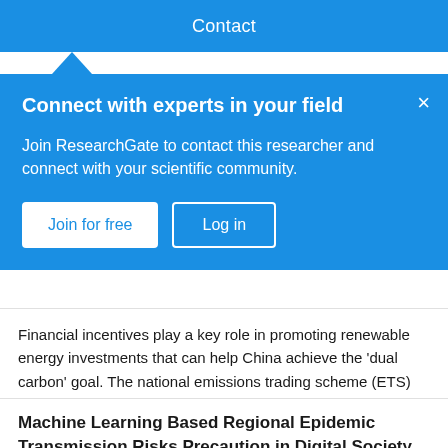Contact
Connect with experts in your field
Join ResearchGate to contact this researcher and connect with your scientific community.
Join for free   Log in
Financial incentives play a key role in promoting renewable energy investments that can help China achieve the 'dual carbon' goal. The national emissions trading scheme (ETS) and the renewable energy portfolio standard (RPS) are two existing market-based policy instruments that can generate stable expected returns for low-carbon projects. This pape...
View
Machine Learning Based Regional Epidemic Transmission Risks Precaution in Digital Society
Preprint